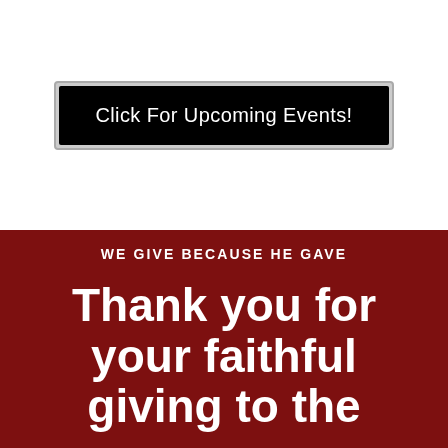[Figure (other): Black button with white text reading 'Click For Upcoming Events!' on a white background, with a gray border]
WE GIVE BECAUSE HE GAVE
Thank you for your faithful giving to the